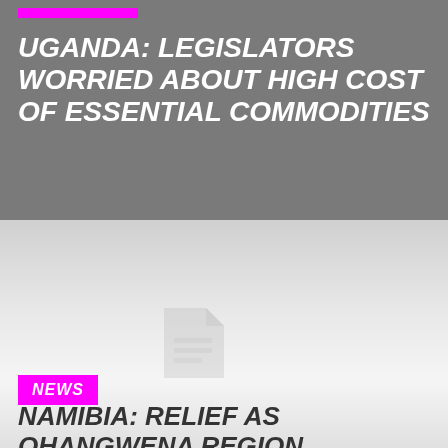[Figure (photo): Dark grey background section for Uganda news story]
UGANDA: LEGISLATORS WORRIED ABOUT HIGH COST OF ESSENTIAL COMMODITIES
[Figure (photo): Light grey gradient background section with a faint document icon placeholder for Namibia news story]
NEWS
NAMIBIA: RELIEF AS OHANGWENA REGION RESIDENCE ACCESS CLEAN WATER